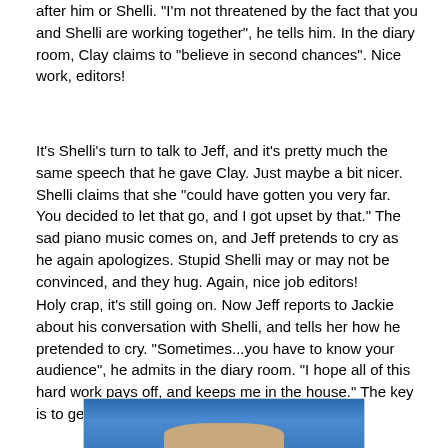after him or Shelli. "I'm not threatened by the fact that you and Shelli are working together", he tells him. In the diary room, Clay claims to "believe in second chances". Nice work, editors!
It's Shelli's turn to talk to Jeff, and it's pretty much the same speech that he gave Clay. Just maybe a bit nicer. Shelli claims that she "could have gotten you very far. You decided to let that go, and I got upset by that." The sad piano music comes on, and Jeff pretends to cry as he again apologizes. Stupid Shelli may or may not be convinced, and they hug. Again, nice job editors!
Holy crap, it's still going on. Now Jeff reports to Jackie about his conversation with Shelli, and tells her how he pretended to cry. "Sometimes...you have to know your audience", he admits in the diary room. "I hope all of this hard work pays off, and keeps me in the house." The key is to get Shelli and Clay's votes.
[Figure (photo): Photo of person(s) with blue swirl background, cropped at bottom of page]